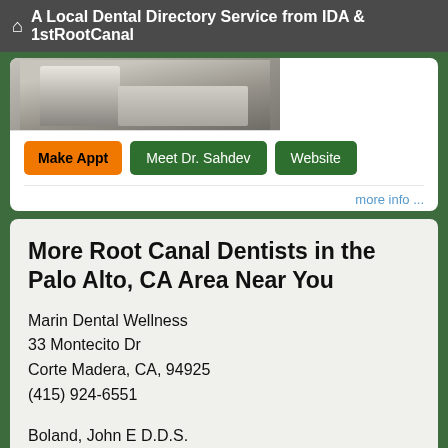A Local Dental Directory Service from IDA & 1stRootCanal
[Figure (photo): Partial photo of Dr. Sahdev, cropped showing lower face and suit jacket with tie]
Make Appt   Meet Dr. Sahdev   Website
more info ...
More Root Canal Dentists in the Palo Alto, CA Area Near You
Marin Dental Wellness
33 Montecito Dr
Corte Madera, CA, 94925
(415) 924-6551
Boland, John E D.D.S.
770 Tamalpais Dr # 404
Corte Madera, CA, 94925-1739